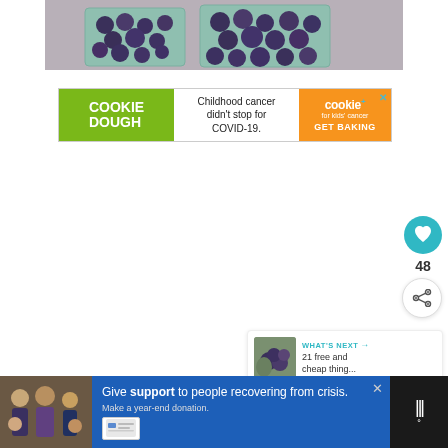[Figure (photo): Photo of blueberries in green cardboard cartons/baskets]
[Figure (infographic): Advertisement banner: COOKIE DOUGH on green background, 'Childhood cancer didn't stop for COVID-19.' in center, cookies for kids' cancer GET BAKING on orange background]
[Figure (infographic): Heart/like button (teal circle with heart icon), count of 48, share button (circle with share icon)]
[Figure (infographic): What's Next widget with thumbnail image and text '21 free and cheap thing...']
[Figure (infographic): Bottom advertisement bar: family photo, blue ad panel with 'Give support to people recovering from crisis. Make a year-end donation.' and weather widget on dark background]